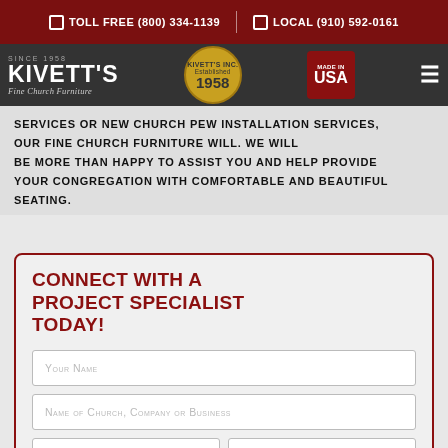Toll Free (800) 334-1139  |  Local (910) 592-0161
[Figure (logo): Kivett's Fine Church Furniture logo with navigation bar including Kivett's Inc. Established 1958 badge, Made in USA badge, and hamburger menu]
SERVICES OR NEW CHURCH PEW INSTALLATION SERVICES, OUR FINE CHURCH FURNITURE WILL. WE WILL BE MORE THAN HAPPY TO ASSIST YOU AND HELP PROVIDE YOUR CONGREGATION WITH COMFORTABLE AND BEAUTIFUL SEATING.
CONNECT WITH A PROJECT SPECIALIST TODAY!
Your Name
Name of Church, Company or Business
Your Phone
Your Email